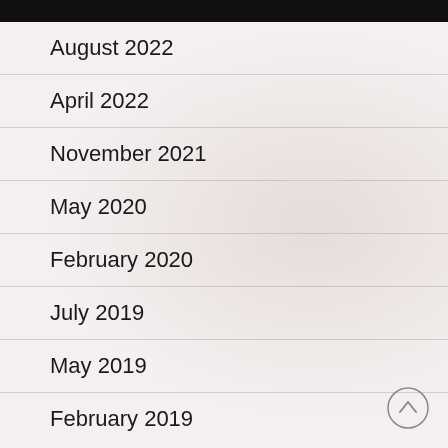August 2022
April 2022
November 2021
May 2020
February 2020
July 2019
May 2019
February 2019